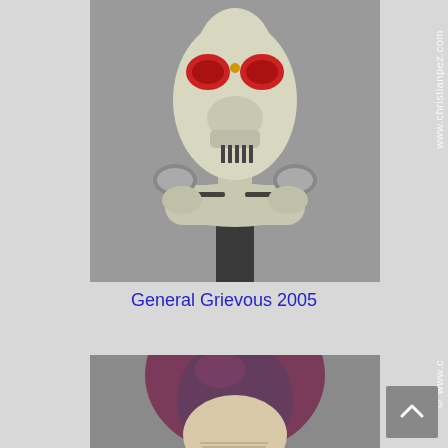[Figure (photo): Close-up photograph of a General Grievous PEZ dispenser from 2005, showing the white alien skull-like head with red eyes and metallic body details on a gray background. Watermark reads www.christianpez.com]
General Grievous 2005
[Figure (photo): Partially visible photograph of another Star Wars PEZ dispenser with a purple hooded head and pale face, partially cropped at bottom of page. Watermark reads © www.c...]